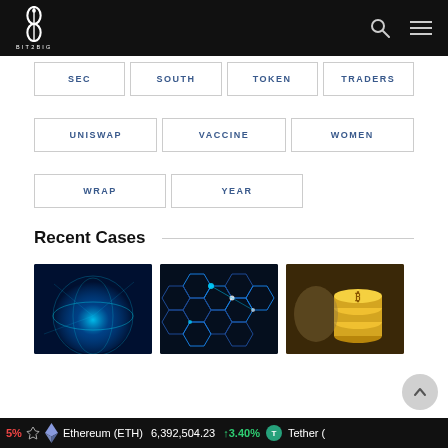BIT2BIG
SEC
SOUTH
TOKEN
TRADERS
UNISWAP
VACCINE
WOMEN
WRAP
YEAR
Recent Cases
[Figure (photo): Blue glowing globe / network sphere on dark background]
[Figure (photo): Hexagonal blockchain network nodes on dark blue background with glowing elements]
[Figure (photo): Stack of gold Bitcoin coins on blurred background]
Ethereum (ETH) 6,392,504.23 ↑3.40% Tether (